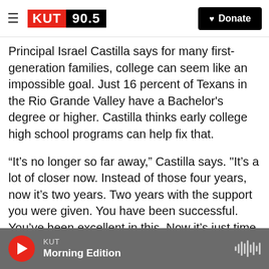KUT 90.5 — Donate
Principal Israel Castilla says for many first-generation families, college can seem like an impossible goal. Just 16 percent of Texans in the Rio Grande Valley have a Bachelor's degree or higher. Castilla thinks early college high school programs can help fix that.
“It’s no longer so far away,” Castilla says. "It’s a lot of closer now. Instead of those four years, now it’s two years. Two years with the support you were given. You have been successful. You’ve been excellent in this. Now it’s just time to move on and continue pursuing what you started.”
KUT Morning Edition